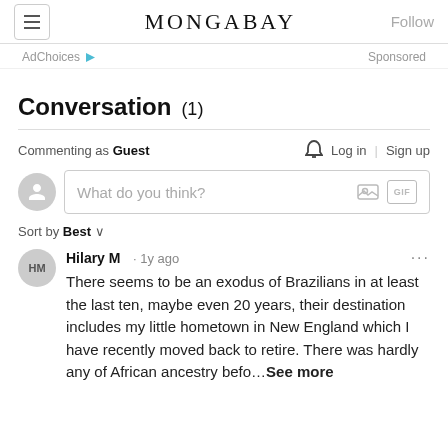MONGABAY
AdChoices ▷  Sponsored
Conversation (1)
Commenting as Guest  🔔  Log in | Sign up
What do you think?
Sort by Best ∨
Hilary M · 1y ago
There seems to be an exodus of Brazilians in at least the last ten, maybe even 20 years, their destination includes my little hometown in New England which I have recently moved back to retire. There was hardly any of African ancestry befo…See more